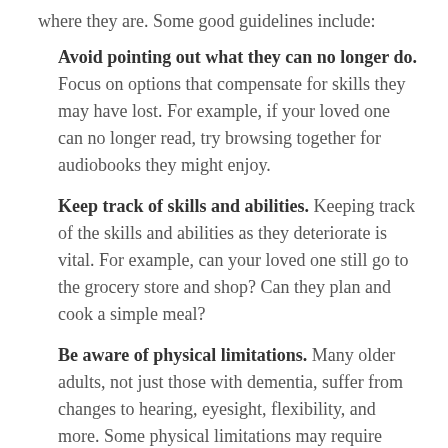where they are. Some good guidelines include:
Avoid pointing out what they can no longer do. Focus on options that compensate for skills they may have lost. For example, if your loved one can no longer read, try browsing together for audiobooks they might enjoy.
Keep track of skills and abilities. Keeping track of the skills and abilities as they deteriorate is vital. For example, can your loved one still go to the grocery store and shop? Can they plan and cook a simple meal?
Be aware of physical limitations. Many older adults, not just those with dementia, suffer from changes to hearing, eyesight, flexibility, and more. Some physical limitations may require modifications to activities, so they are still suitable.
Plan appropriate social events. People with dementia often feel anxious or overwhelmed in large gatherings